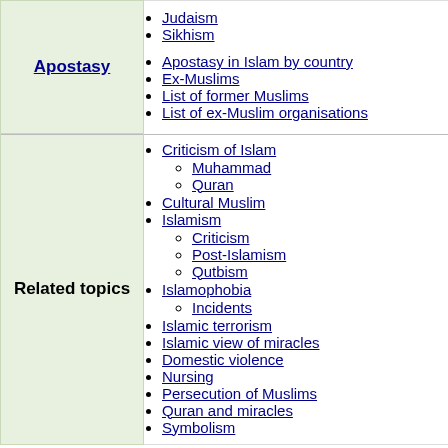Judaism
Sikhism
Apostasy
Apostasy in Islam by country
Ex-Muslims
List of former Muslims
List of ex-Muslim organisations
Related topics
Criticism of Islam
Muhammad
Quran
Cultural Muslim
Islamism
Criticism
Post-Islamism
Qutbism
Islamophobia
Incidents
Islamic terrorism
Islamic view of miracles
Domestic violence
Nursing
Persecution of Muslims
Quran and miracles
Symbolism